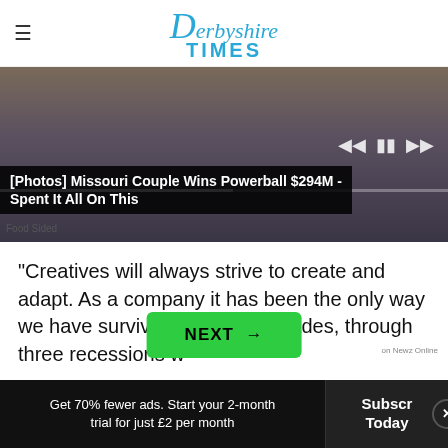Derbyshire Times
[Figure (photo): Video player showing a woman with blonde hair speaking into a microphone, with media controls visible. Overlaid caption reads '[Photos] Missouri Couple Wins Powerball $294M - Spent It All On This'. Source label: Food Sided.]
"Creatives will always strive to create and adapt. As a company it has been the only way we have survived for three decades, through three recessions w...
NEXT →
on Newz Online
Get 70% fewer ads. Start your 2-month trial for just £2 per month
Subscribe Today